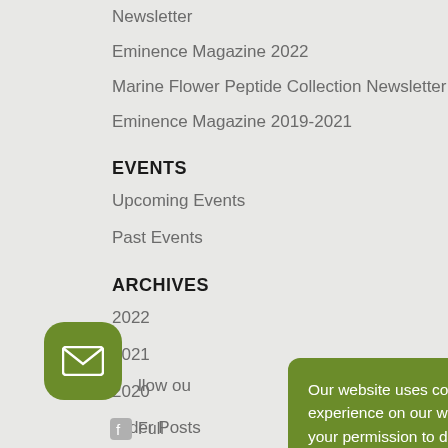Newsletter
Eminence Magazine 2022
Marine Flower Peptide Collection Newsletter
Eminence Magazine 2019-2021
EVENTS
Upcoming Events
Past Events
ARCHIVES
2022
2021
2020
Older Posts
Follow ou...
Our website uses cookies to guarantee you the best experience on our website. By continuing we assume your permission to deploy cookies as detailed in our privacy policy.
I accept